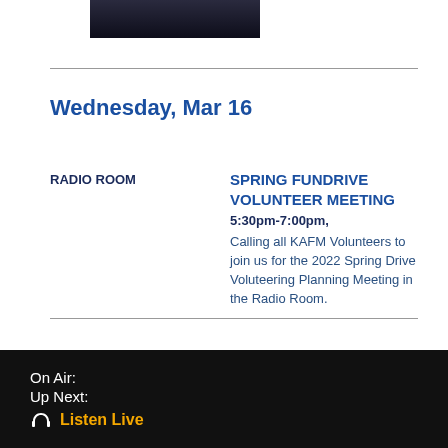[Figure (photo): Small dark image thumbnail at top of page]
Wednesday, Mar 16
RADIO ROOM
SPRING FUNDRIVE VOLUNTEER MEETING
5:30pm-7:00pm,
Calling all KAFM Volunteers to join us for the 2022 Spring Drive Voluteering Planning Meeting in the Radio Room.
Thursday, Mar 17
On Air:
Up Next:
🎧 Listen Live